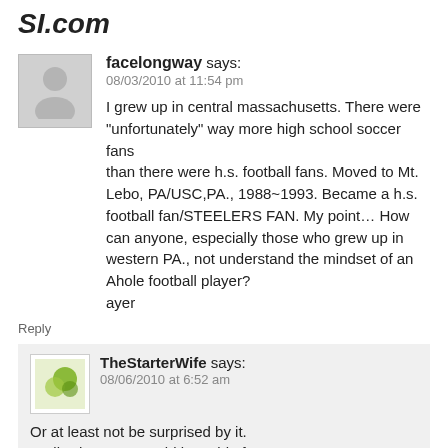SI.com
facelongway says:
08/03/2010 at 11:54 pm
I grew up in central massachusetts. There were “unfortunately” way more high school soccer fans than there were h.s. football fans. Moved to Mt. Lebo, PA/USC,PA., 1988~1993. Became a h.s. football fan/STEELERS FAN. My point… How can anyone, especially those who grew up in western PA., not understand the mindset of an Ahole football player?
ayer
Reply
TheStarterWife says:
08/06/2010 at 6:52 am
Or at least not be surprised by it. Sadly, the same could be said of any privileged athlete or artist though.